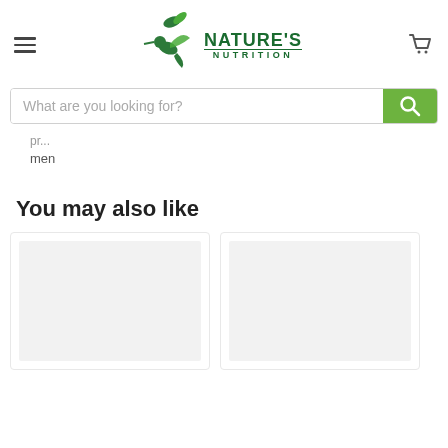[Figure (logo): Nature's Nutrition logo with hummingbird and leaves icon, green text]
men
What are you looking for?
You may also like
[Figure (photo): Product card image placeholder (light gray box)]
[Figure (photo): Product card image placeholder (light gray box)]